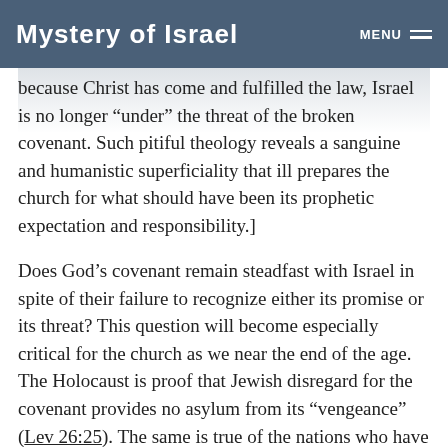Mystery of Israel  MENU
because Christ has come and fulfilled the law, Israel is no longer “under” the threat of the broken covenant. Such pitiful theology reveals a sanguine and humanistic superficiality that ill prepares the church for what should have been its prophetic expectation and responsibility.]
Does God’s covenant remain steadfast with Israel in spite of their failure to recognize either its promise or its threat? This question will become especially critical for the church as we near the end of the age. The Holocaust is proof that Jewish disregard for the covenant provides no asylum from its “vengeance” (Lev 26:25). The same is true of the nations who have before, and will again, stumble over the same covenant. And